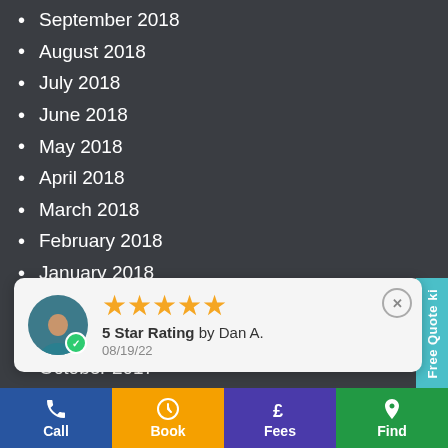September 2018
August 2018
July 2018
June 2018
May 2018
April 2018
March 2018
February 2018
January 2018
December 2017
November 2017
October 2017
[Figure (screenshot): Review popup showing 5 star rating by Dan A. dated 08/19/22 with avatar]
June 2017
May 2017
Free Quote ki (side tab label)
Call | Book | Fees | Find (bottom navigation bar)